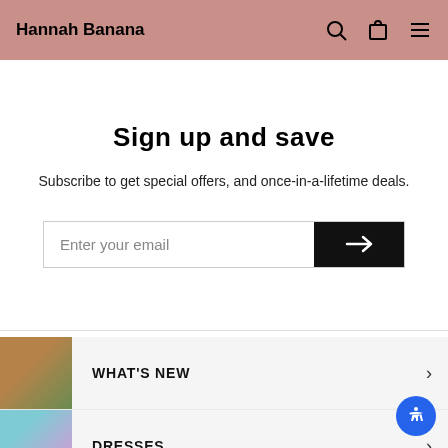Hannah Banana
Sign up and save
Subscribe to get special offers, and once-in-a-lifetime deals.
[Figure (screenshot): Email subscription input field with arrow submit button]
WHAT'S NEW
DRESSES
ROMPERS & JUMPSUITS
TOPS